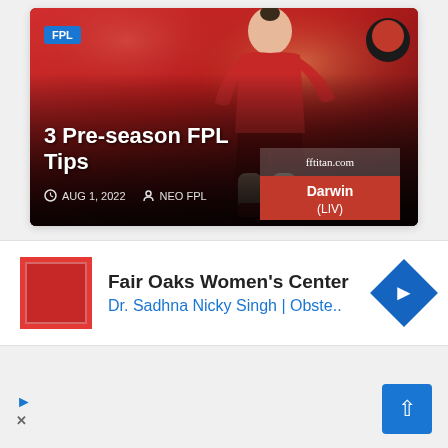[Figure (photo): Article card featuring a Liverpool FC football player in red kit running, with overlay text showing FPL badge, article title '3 Pre-season FPL Tips', date 'AUG 1, 2022', author 'NEO FPL', and FFtitan.com Darwin (LIV) overlay in bottom right corner.]
3 Pre-season FPL Tips
AUG 1, 2022   NEO FPL
[Figure (photo): Advertisement for Fair Oaks Women's Center showing red square logo on left, text 'Fair Oaks Women's Center' in bold black and 'Dr. Sadhna Nicky Singh | Obste..' in blue, with blue diamond arrow icon on right.]
Fair Oaks Women's Center
Dr. Sadhna Nicky Singh | Obste..